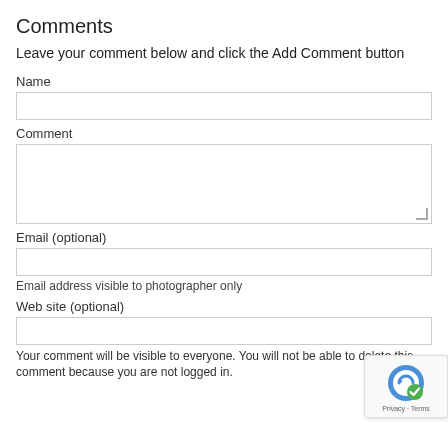Comments
Leave your comment below and click the Add Comment button
Name
Comment
Email (optional)
Email address visible to photographer only
Web site (optional)
Your comment will be visible to everyone. You will not be able to delete this comment because you are not logged in.